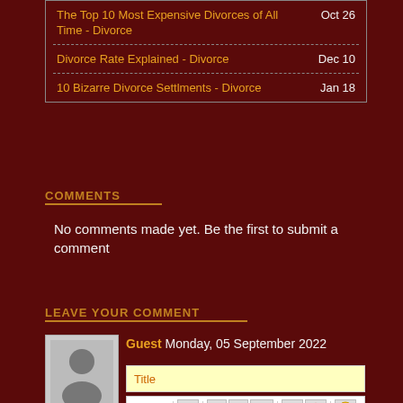The Top 10 Most Expensive Divorces of All Time - Divorce   Oct 26
Divorce Rate Explained - Divorce   Dec 10
10 Bizarre Divorce Settlments - Divorce   Jan 18
COMMENTS
No comments made yet. Be the first to submit a comment
LEAVE YOUR COMMENT
Guest  Monday, 05 September 2022
Title